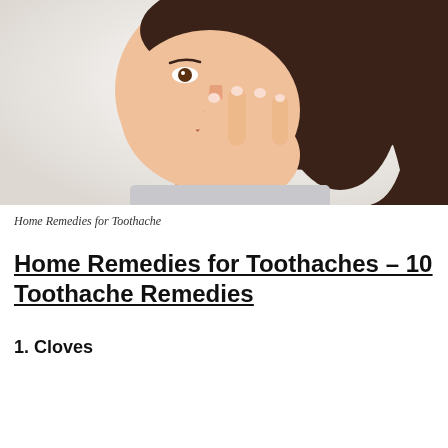[Figure (photo): Close-up of a young woman with dark hair holding her hand to her jaw/cheek, appearing to have a toothache, against a light background.]
Home Remedies for Toothache
Home Remedies for Toothaches – 10 Toothache Remedies
1. Cloves